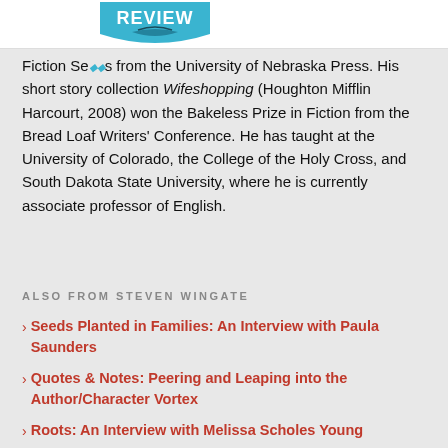REVIEW
Fiction Series from the University of Nebraska Press. His short story collection Wifeshopping (Houghton Mifflin Harcourt, 2008) won the Bakeless Prize in Fiction from the Bread Loaf Writers' Conference. He has taught at the University of Colorado, the College of the Holy Cross, and South Dakota State University, where he is currently associate professor of English.
ALSO FROM STEVEN WINGATE
Seeds Planted in Families: An Interview with Paula Saunders
Quotes & Notes: Peering and Leaping into the Author/Character Vortex
Roots: An Interview with Melissa Scholes Young